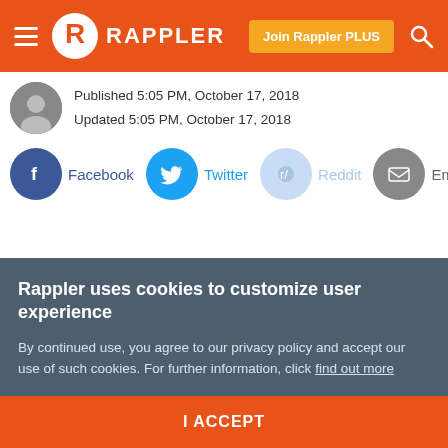RAPPLER
Published 5:05 PM, October 17, 2018
Updated 5:05 PM, October 17, 2018
Facebook  Twitter  Reddit  Email
Rappler uses cookies to customize user experience
By continued use, you agree to our privacy policy and accept our use of such cookies. For further information, click find out more
I ACCEPT